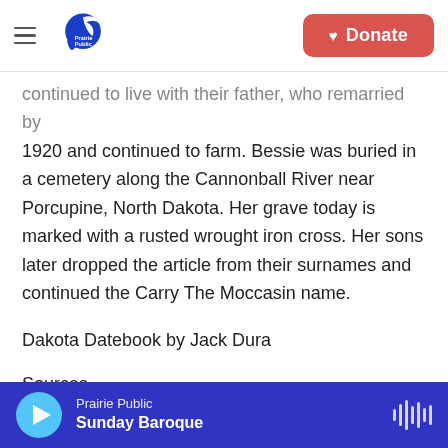Prairie Public | Donate
continued to live with their father, who remarried by 1920 and continued to farm. Bessie was buried in a cemetery along the Cannonball River near Porcupine, North Dakota. Her grave today is marked with a rusted wrought iron cross. Her sons later dropped the article from their surnames and continued the Carry The Moccasin name.
Dakota Datebook by Jack Dura
Sources
United States Office of Indian Affairs. (1903). Annual report of the commission of Indian affairs.
Prairie Public — Sunday Baroque